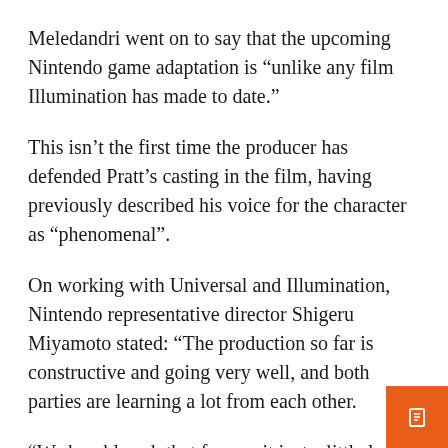Meledandri went on to say that the upcoming Nintendo game adaptation is “unlike any film Illumination has made to date.”
This isn’t the first time the producer has defended Pratt’s casting in the film, having previously described his voice for the character as “phenomenal”.
On working with Universal and Illumination, Nintendo representative director Shigeru Miyamoto stated: “The production so far is constructive and going very well, and both parties are learning a lot from each other.
“We humbly ask that fans wait just a little longer for the premiere, and we hope they look forward to seeing the unique characters from Super Mario Bros. on the big screen.”
The review in which the upcoming...